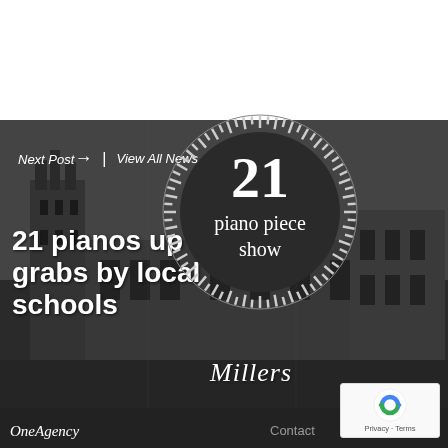[Figure (photo): Black and white photograph of a historic Gothic/classical architectural building (appears to be Cambridge University), used as background image with dark overlay]
Next Post  |  View All News
[Figure (illustration): Circular badge/logo with piano key border pattern. Dark circular background with large white '21' numeral and text 'piano piece show' in white serif font]
21 pianos up for grabs by local schools
Millers
[Figure (logo): Google reCAPTCHA widget showing the reCAPTCHA logo with blue and green arrow icon, and 'Privacy - Terms' text below]
OneAgency
Contact